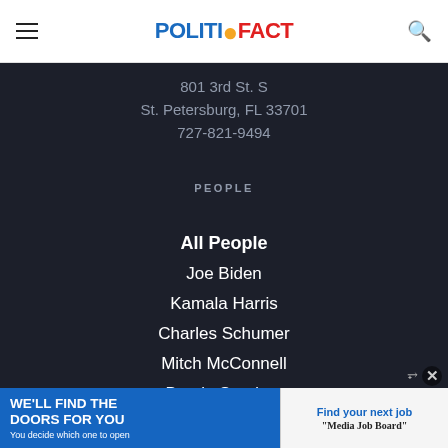POLITIFACT
801 3rd St. S
St. Petersburg, FL 33701
727-821-9494
PEOPLE
All People
Joe Biden
Kamala Harris
Charles Schumer
Mitch McConnell
Bernie Sanders
Nancy Pelosi
Donald Trump
[Figure (infographic): Advertisement banner: WE'LL FIND THE DOORS FOR YOU - You decide which one to open | Find your next job - Media Job Board]